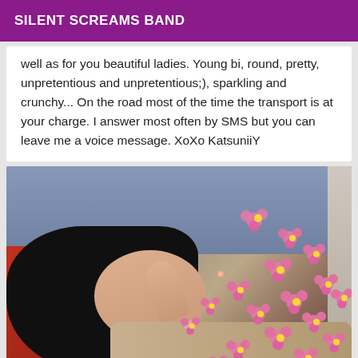SILENT SCREAMS BAND
well as for you beautiful ladies. Young bi, round, pretty, unpretentious and unpretentious;), sparkling and crunchy... On the road most of the time the transport is at your charge. I answer most often by SMS but you can leave me a voice message. XoXo KatsuniiY
[Figure (photo): A young woman with dark hair lying down, smiling, with pink daisy flowers overlaid on the image. She is resting on colorful pillows (red and blue-grey) and wearing a tan/beige top. Flower stickers are scattered across her torso and the background.]